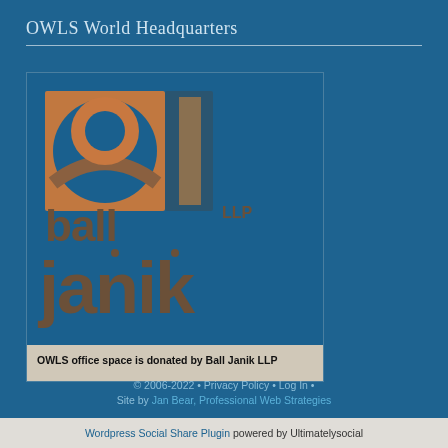OWLS World Headquarters
[Figure (logo): Ball Janik LLP logo — stylized circular mark with orange circle and brown curved shapes above the word 'janik' in large brown lowercase letters with 'LLP' superscript, all on a blue background. Caption below: 'OWLS office space is donated by Ball Janik LLP']
OWLS office space is donated by Ball Janik LLP
© 2006-2022 • Privacy Policy • Log In • Site by Jan Bear, Professional Web Strategies
Wordpress Social Share Plugin powered by Ultimatelysocial